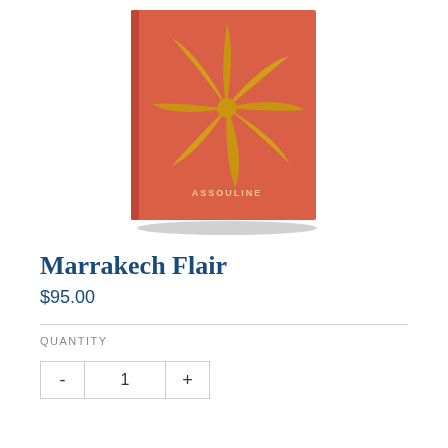[Figure (photo): Book cover of 'Marrakech Flair' published by Assouline. Red/coral background with a large gold metallic flower/asterisk shape in the center. The word ASSOULINE appears in small gold letters near the bottom center of the cover. The book is shown at a slight angle with a shadow beneath it.]
Marrakech Flair
$95.00
QUANTITY
- 1 +